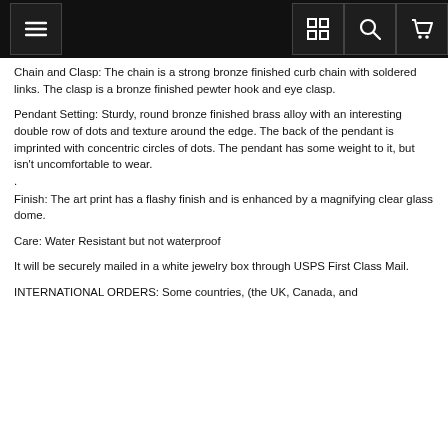[Navigation bar with hamburger menu, grid icon, search icon, cart icon]
Chain and Clasp: The chain is a strong bronze finished curb chain with soldered links. The clasp is a bronze finished pewter hook and eye clasp.
Pendant Setting: Sturdy, round bronze finished brass alloy with an interesting double row of dots and texture around the edge. The back of the pendant is imprinted with concentric circles of dots. The pendant has some weight to it, but isn't uncomfortable to wear.
.
Finish: The art print has a flashy finish and is enhanced by a magnifying clear glass dome.
Care: Water Resistant but not waterproof
It will be securely mailed in a white jewelry box through USPS First Class Mail.
INTERNATIONAL ORDERS: Some countries, (the UK, Canada, and more) may have additional customs fees and/or import/handling...